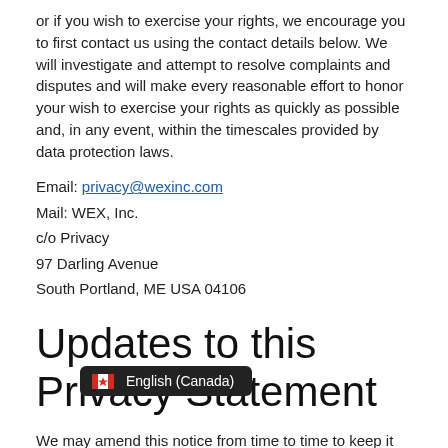or if you wish to exercise your rights, we encourage you to first contact us using the contact details below. We will investigate and attempt to resolve complaints and disputes and will make every reasonable effort to honor your wish to exercise your rights as quickly as possible and, in any event, within the timescales provided by data protection laws.
Email: privacy@wexinc.com
Mail: WEX, Inc.
c/o Privacy
97 Darling Avenue
South Portland, ME USA 04106
Updates to this Privacy Statement
We may amend this notice from time to time to keep it up to date with legal requirements and the way we operate our business. Please check for the latest version of this notice. We will highlight changes to this Privacy Notice